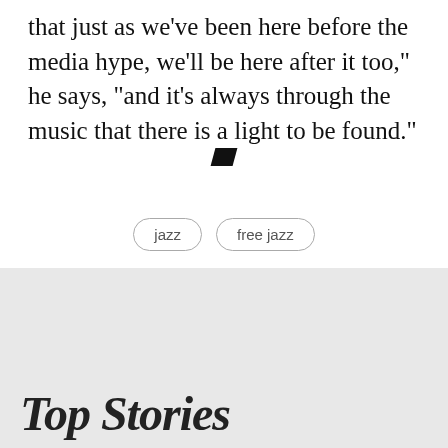that just as we've been here before the media hype, we'll be here after it too," he says, "and it's always through the music that there is a light to be found."
[Figure (other): Small black parallelogram shape used as a decorative divider]
jazz
free jazz
Read more in jazz →
Top Stories